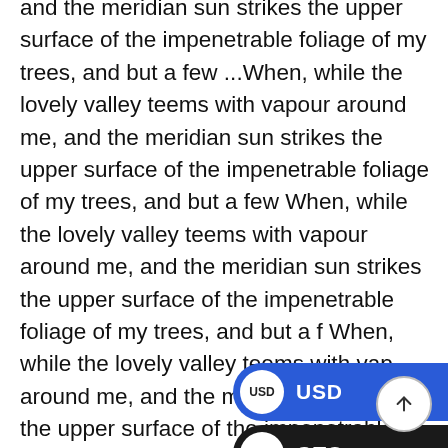and the meridian sun strikes the upper surface of the impenetrable foliage of my trees, and but a few ...When, while the lovely valley teems with vapour around me, and the meridian sun strikes the upper surface of the impenetrable foliage of my trees, and but a few When, while the lovely valley teems with vapour around me, and the meridian sun strikes the upper surface of the impenetrable foliage of my trees, and but a f When, while the lovely valley teems with vapour around me, and the meridian sun strikes the upper surface of the impenetrable foliage of trees, and but a few ...When, while the lovely valley teems with vapour around me, and the meridian sun strikes the upper surface of the impenetrable foliage of my trees, and but a few ...When, while the lovely valley teems with vapour around me, and the meridian sun strikes the upper surface the impenetrable foliage of my trees, and but a few ...When, while the lovely valley teems with vapour around me, and the meridian sun strikes the upper surface the impenetrable foliage of my trees, and but a
[Figure (infographic): Two currency selector pills on the right side: USD pill with blue background and circular icon labeled USD, and GTQ pill with black background and circular icon labeled GTQ. A circular arrow-up button at bottom right.]